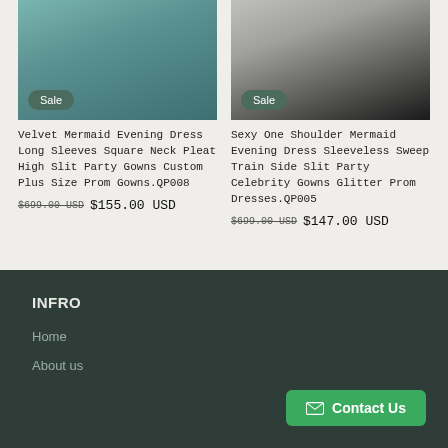[Figure (photo): Teal velvet mermaid evening dress on model, with Sale badge]
[Figure (photo): Black one shoulder mermaid evening dress on model, with Sale badge]
Velvet Mermaid Evening Dress Long Sleeves Square Neck Pleat High Slit Party Gowns Custom Plus Size Prom Gowns.QP008
Sexy One Shoulder Mermaid Evening Dress Sleeveless Sweep Train Side Slit Party Celebrity Gowns Glitter Prom Dresses.QP005
$699.00 USD  $155.00 USD
$699.00 USD  $147.00 USD
INFRO
Home
About us